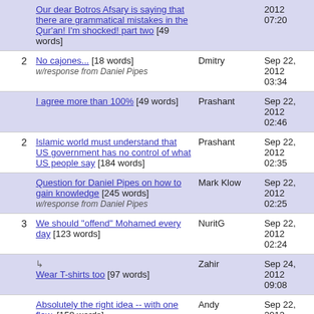| # | Title | Author | Date |
| --- | --- | --- | --- |
|  | Our dear Botros Afsary is saying that there are grammatical mistakes in the Qur'an! I'm shocked! part two [49 words] |  | 2012 07:20 |
| 2 | No cajones... [18 words] w/response from Daniel Pipes | Dmitry | Sep 22, 2012 03:34 |
|  | I agree more than 100% [49 words] | Prashant | Sep 22, 2012 02:46 |
| 2 | Islamic world must understand that US government has no control of what US people say [184 words] | Prashant | Sep 22, 2012 02:35 |
|  | Question for Daniel Pipes on how to gain knowledge [245 words] w/response from Daniel Pipes | Mark Klow | Sep 22, 2012 02:25 |
| 3 | We should "offend" Mohamed every day [123 words] | NuritG | Sep 22, 2012 02:24 |
|  | ↳ Wear T-shirts too [97 words] | Zahir | Sep 24, 2012 09:08 |
|  | Absolutely the right idea -- with one flaw. [158 words] w/response from Daniel Pipes | Andy | Sep 22, 2012 01:05 |
|  | Think of the others [28 words] | C Kalotaris | Sep 22, |